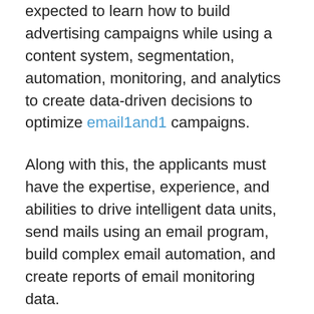expected to learn how to build advertising campaigns while using a content system, segmentation, automation, monitoring, and analytics to create data-driven decisions to optimize email1and1 campaigns.
Along with this, the applicants must have the expertise, experience, and abilities to drive intelligent data units, send mails using an email program, build complex email automation, and create reports of email monitoring data.
The credential Salesforce MCES examination comprises 60 multiple choice questions to be completed within 90 minutes. The examination's passing score is 65%, and the registration fee is $200.
Why Learn Salesforce Marketing Cloud Email Expert?